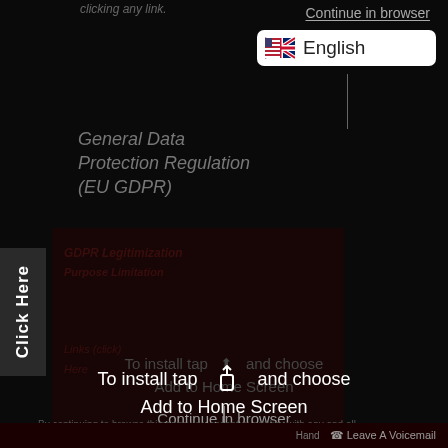clicking any link.
Continue in browser
English
General Data Protection Regulation (EU GDPR)
[Figure (screenshot): Dark brownish-red box overlay containing faded italic text about GDPR and links, with a 'Click Here' vertical tab on the left side]
To install tap ⬆ and choose Add to Home Screen
Continue in browser
By continuing to browse this page you accept our policy with any and all
Leave A Voicemail